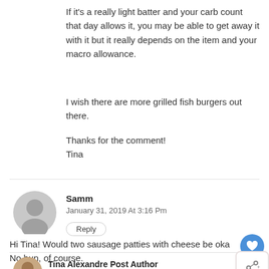If it's a really light batter and your carb count that day allows it, you may be able to get away it with it but it really depends on the item and your macro allowance.
I wish there are more grilled fish burgers out there.
Thanks for the comment!
Tina
Samm
January 31, 2019 At 3:16 Pm
Reply
Hi Tina! Would two sausage patties with cheese be oka
No bun, of course.
Tina Alexandre Post Author